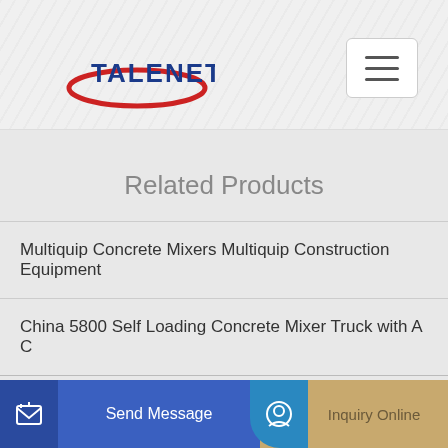[Figure (logo): Talenet company logo with red ellipse and blue bold text TALENET]
Related Products
Multiquip Concrete Mixers Multiquip Construction Equipment
China 5800 Self Loading Concrete Mixer Truck with A C
New style most popular mobile concrete batch plant
Send Message
Inquiry Online